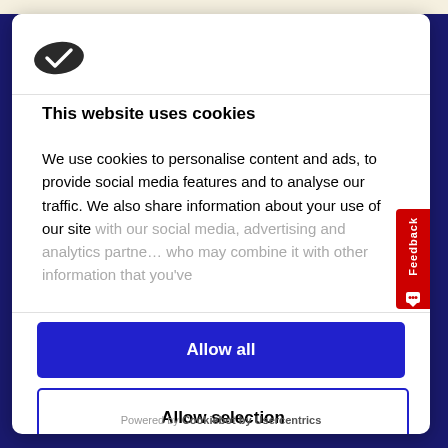[Figure (logo): Cookiebot logo - dark oval shape with checkmark]
This website uses cookies
We use cookies to personalise content and ads, to provide social media features and to analyse our traffic. We also share information about your use of our site with our social media, advertising and analytics partners who may combine it with other information that you've
Allow all
Allow selection
Powered by Cookiebot by Usercentrics